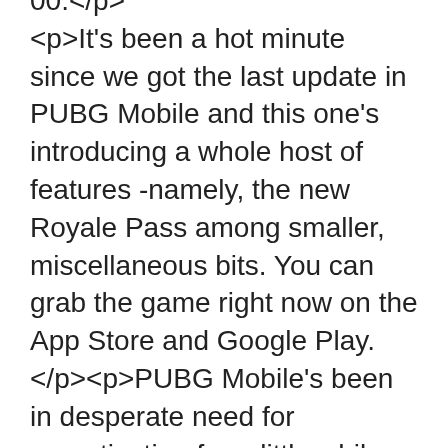00.</p><p>It's been a hot minute since we got the last update in PUBG Mobile and this one's introducing a whole host of features -namely, the new Royale Pass among smaller, miscellaneous bits. You can grab the game right now on the App Store and Google Play.</p><p>PUBG Mobile's been in desperate need for monetisation for a little while, especially given Fortnite's successes so far on the platform, and Royale Pass is where it starts. Or, rather the 'Elite Royale Pass'.</p><p>By completing daily and weekly missions you'll earn points and increase your rank. By completing more missions you'll also get additional crates and unlock more rewards by reaching a new Royale Pass rank. Alternatively, if you don't fancy grinding you can just buy ranks outright to unlock rewards. The paid-for Elite Royale Pass unlocks elite missions to earn more points and rewards for each rank. The first season starts in mid-June (so, around now-ish).</p><p>Aside from the Royale Pass, the latest update brings us a first-person mode in Classic, emotes, new character profiles, tier protectio